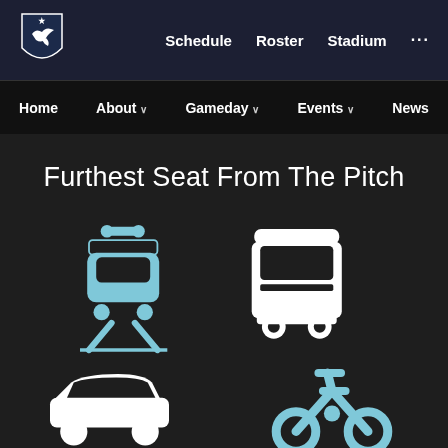[Figure (logo): Minnesota United FC bird logo in white on dark navy background]
Schedule   Roster   Stadium   ...
Home   About ∨   Gameday ∨   Events ∨   News
Furthest Seat From The Pitch
[Figure (illustration): Four transportation icons on dark background: light blue train (top-left), white bus (top-right), white car (bottom-left, partially visible), light blue bicycle/scooter (bottom-right, partially visible)]